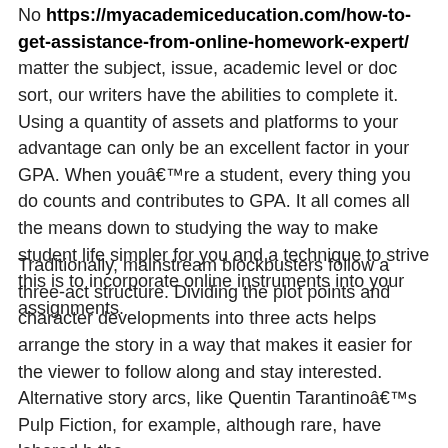No https://myacademiceducation.com/how-to-get-assistance-from-online-homework-expert/ matter the subject, issue, academic level or doc sort, our writers have the abilities to complete it. Using a quantity of assets and platforms to your advantage can only be an excellent factor in your GPA. When youâ??re a student, every thing you do counts and contributes to GPA. It all comes all the means down to studying the way to make student life simpler for you and a technique to strive this is to incorporate online instruments into your assignments.
Traditionally, mainstream blockbusters follow a three-act structure. Dividing the plot points and character developments into three acts helps arrange the story in a way that makes it easier for the viewer to follow along and stay interested. Alternative story arcs, like Quentin Tarantinoâ??s Pulp Fiction, for example, although rare, have labored b th...